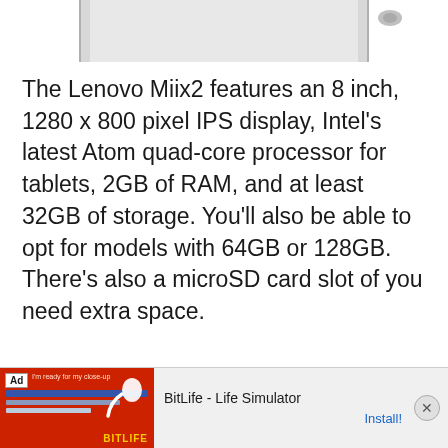[Figure (photo): Partial top view of a Lenovo Miix2 tablet device shown from above, cropped at the top of the page]
The Lenovo Miix2 features an 8 inch, 1280 x 800 pixel IPS display, Intel’s latest Atom quad-core processor for tablets, 2GB of RAM, and at least 32GB of storage. You’ll also be able to opt for models with 64GB or 128GB. There’s also a microSD card slot of you need extra space.
[Figure (screenshot): Advertisement banner for BitLife - Life Simulator app, showing Ad label, app icon with sperm graphic on red background, app title 'BitLife - Life Simulator', and Install! button]